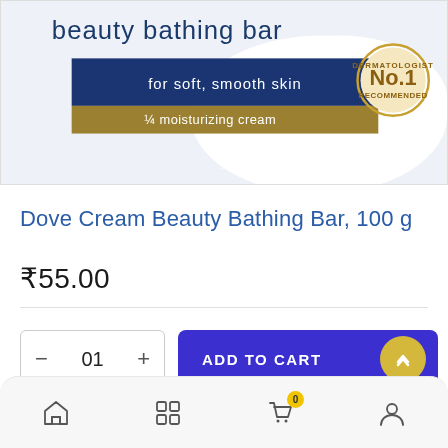[Figure (photo): Dove Cream Beauty Bathing Bar product image. Shows white soap bar with packaging. Blue rectangle with text 'for soft, smooth skin', gold bar with '1/4 moisturizing cream'. 'beauty bathing bar' text at top. Gold circular badge with 'No.1 DERMATOLOGIST RECOMMENDED'.]
Dove Cream Beauty Bathing Bar, 100 g
₹55.00
01
ADD TO CART